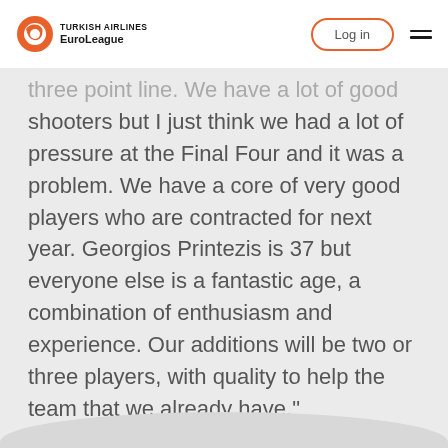TURKISH AIRLINES EuroLeague | Log in
three point line. We have a lot of good shooters but I just think we had a lot of pressure at the Final Four and it was a problem. We have a core of very good players who are contracted for next year. Georgios Printezis is 37 but everyone else is a fantastic age, a combination of enthusiasm and experience. Our additions will be two or three players, with quality to help the team that we already have."